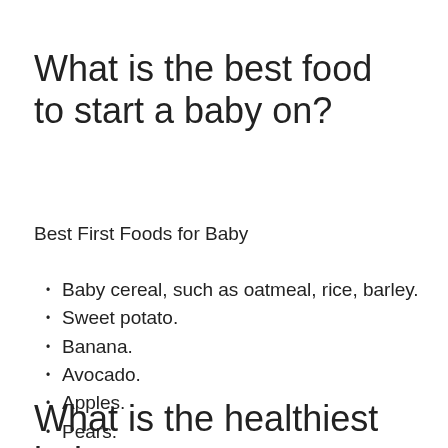What is the best food to start a baby on?
Best First Foods for Baby
Baby cereal, such as oatmeal, rice, barley.
Sweet potato.
Banana.
Avocado.
Apples.
Pears.
Green beans.
Butternut squash.
What is the healthiest baby